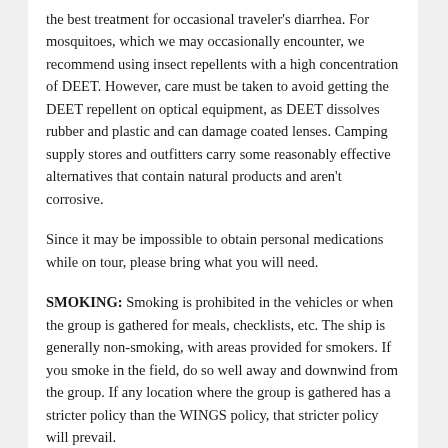the best treatment for occasional traveler's diarrhea. For mosquitoes, which we may occasionally encounter, we recommend using insect repellents with a high concentration of DEET. However, care must be taken to avoid getting the DEET repellent on optical equipment, as DEET dissolves rubber and plastic and can damage coated lenses. Camping supply stores and outfitters carry some reasonably effective alternatives that contain natural products and aren't corrosive.
Since it may be impossible to obtain personal medications while on tour, please bring what you will need.
SMOKING: Smoking is prohibited in the vehicles or when the group is gathered for meals, checklists, etc. The ship is generally non-smoking, with areas provided for smokers. If you smoke in the field, do so well away and downwind from the group. If any location where the group is gathered has a stricter policy than the WINGS policy, that stricter policy will prevail.
ALTITUDE: On the land excursions organized during the cruise we won't be at elevations higher than about 1,500 feet, so altitude sickness will not be a concern during the main tour. If you opt for a post-tour extension around Santiago we may reach briefly the